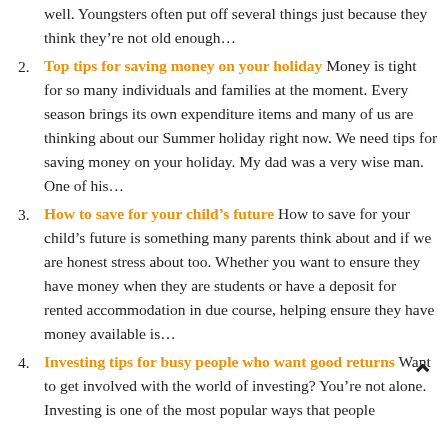well. Youngsters often put off several things just because they think they're not old enough…
Top tips for saving money on your holiday Money is tight for so many individuals and families at the moment. Every season brings its own expenditure items and many of us are thinking about our Summer holiday right now. We need tips for saving money on your holiday. My dad was a very wise man. One of his…
How to save for your child's future How to save for your child's future is something many parents think about and if we are honest stress about too. Whether you want to ensure they have money when they are students or have a deposit for rented accommodation in due course, helping ensure they have money available is…
Investing tips for busy people who want good returns Want to get involved with the world of investing? You're not alone. Investing is one of the most popular ways that people